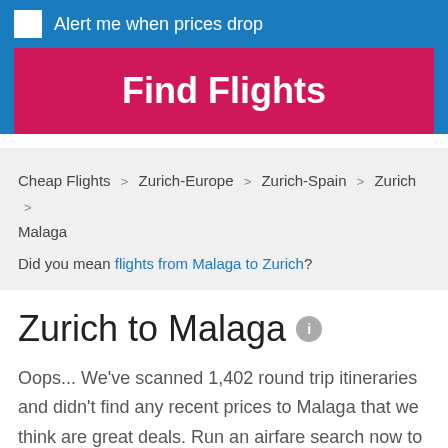Alert me when prices drop
Find Flights
Cheap Flights > Zurich-Europe > Zurich-Spain > Zurich > Malaga
Did you mean flights from Malaga to Zurich?
Zurich to Malaga
Oops... We've scanned 1,402 round trip itineraries and didn't find any recent prices to Malaga that we think are great deals. Run an airfare search now to update and